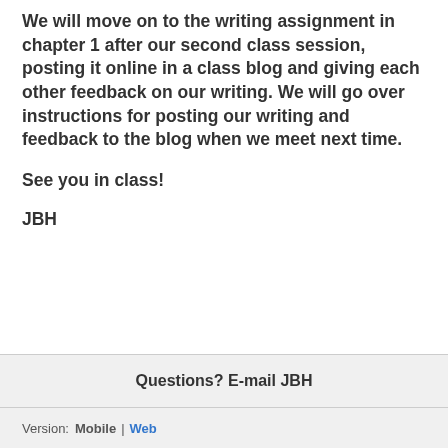We will move on to the writing assignment in chapter 1 after our second class session, posting it online in a class blog and giving each other feedback on our writing. We will go over instructions for posting our writing and feedback to the blog when we meet next time.
See you in class!
JBH
Questions? E-mail JBH
Version: Mobile | Web